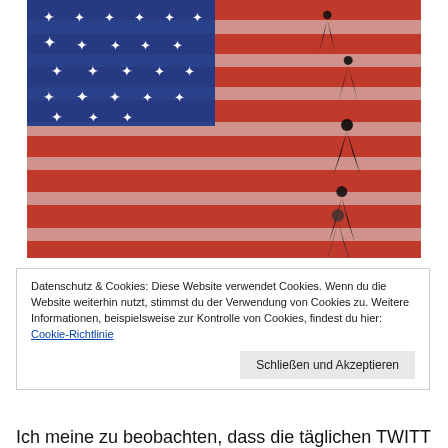[Figure (illustration): Artistic image of an American-style flag with red and white stripes and a blue canton with white stars, overlaid with black silhouettes of running human figures on the right side]
Datenschutz & Cookies: Diese Website verwendet Cookies. Wenn du die Website weiterhin nutzt, stimmst du der Verwendung von Cookies zu. Weitere Informationen, beispielsweise zur Kontrolle von Cookies, findest du hier: Cookie-Richtlinie
Schließen und Akzeptieren
Ich meine zu beobachten, dass die täglichen TWITTER